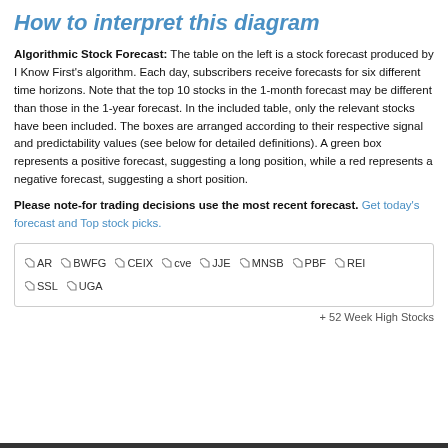How to interpret this diagram
Algorithmic Stock Forecast: The table on the left is a stock forecast produced by I Know First's algorithm. Each day, subscribers receive forecasts for six different time horizons. Note that the top 10 stocks in the 1-month forecast may be different than those in the 1-year forecast. In the included table, only the relevant stocks have been included. The boxes are arranged according to their respective signal and predictability values (see below for detailed definitions). A green box represents a positive forecast, suggesting a long position, while a red represents a negative forecast, suggesting a short position.
Please note-for trading decisions use the most recent forecast. Get today's forecast and Top stock picks.
AR  BWFG  CEIX  cve  JJE  MNSB  PBF  REI  SSL  UGA
+ 52 Week High Stocks